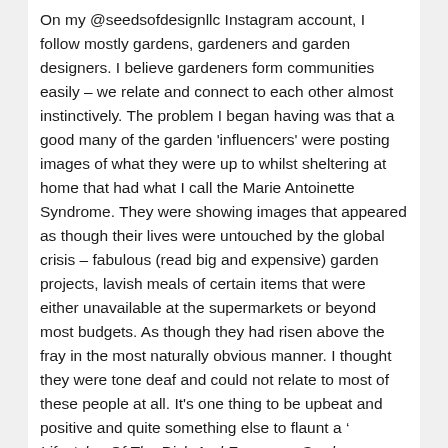On my @seedsofdesignllc Instagram account, I follow mostly gardens, gardeners and garden designers. I believe gardeners form communities easily – we relate and connect to each other almost instinctively. The problem I began having was that a good many of the garden 'influencers' were posting images of what they were up to whilst sheltering at home that had what I call the Marie Antoinette Syndrome. They were showing images that appeared as though their lives were untouched by the global crisis – fabulous (read big and expensive) garden projects, lavish meals of certain items that were either unavailable at the supermarkets or beyond most budgets. As though they had risen above the fray in the most naturally obvious manner. I thought they were tone deaf and could not relate to most of these people at all. It's one thing to be upbeat and positive and quite something else to flaunt a ' Lifestyles Of The Rich And Famous – Garden Version' sort of message. With a pandemic, socio-economic inequities and racial injustices raging, it was frustrating and often enraging to see such posts. I'm not suggesting people don't live they way they